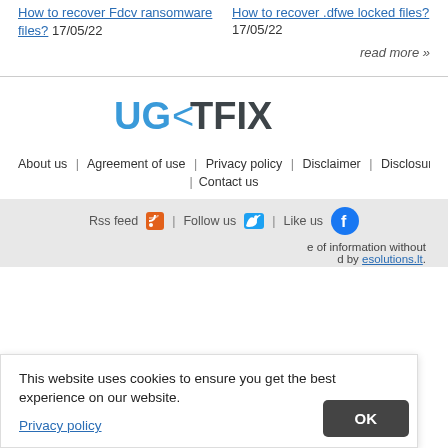How to recover Fdcv ransomware files? 17/05/22
How to recover .dfwe locked files? 17/05/22
read more »
[Figure (logo): UG<TFIX logo in blue and dark gray]
About us | Agreement of use | Privacy policy | Disclaimer | Disclosure
| Contact us
Rss feed | Follow us | Like us (social icons)
This website uses cookies to ensure you get the best experience on our website.
Privacy policy
OK
e of information without d by esolutions.lt.